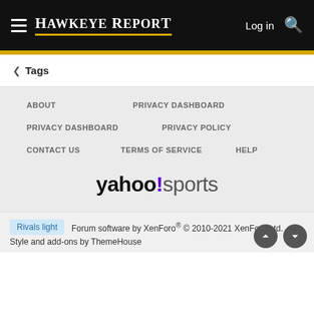HAWKEYE REPORT  Log in
< Tags
ABOUT
PRIVACY DASHBOARD
PRIVACY DASHBOARD
PRIVACY POLICY
CONTACT US
TERMS OF SERVICE
HELP
[Figure (logo): yahoo!sports logo]
Rivals light  Forum software by XenForo® © 2010-2021 XenForo Ltd.  Style and add-ons by ThemeHouse